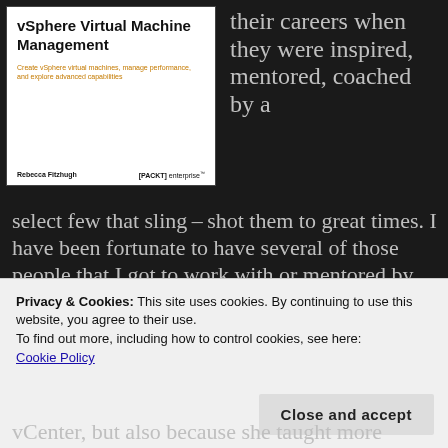[Figure (illustration): Book cover for 'vSphere Virtual Machine Management' by Rebecca Fitzhugh, published by Packt enterprise. Subtitle: 'Create vSphere virtual machines, manage performance, and explore advanced capabilities.']
their careers when they were inspired, mentored, coached by a select few that sling-shot them to great times. I have been fortunate to have several of those people that I got to work with or mentored by that have pushed me in the right direction in my career. I met Rebecca Fitzhugh while attending my vSphere 5.1 Install
Privacy & Cookies: This site uses cookies. By continuing to use this website, you agree to their use.
To find out more, including how to control cookies, see here:
Cookie Policy
vCenter, but also because she taught more